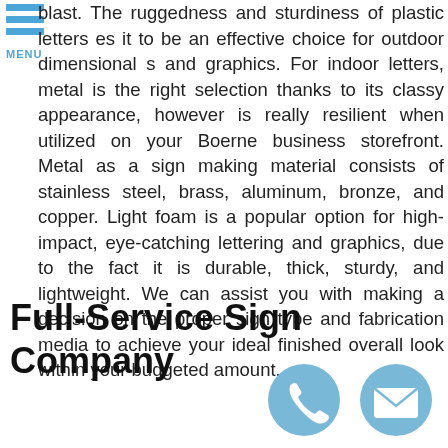[Figure (other): Mobile menu icon: three horizontal blue bars with MENU label below]
blast. The ruggedness and sturdiness of plastic letters es it to be an effective choice for outdoor dimensional s and graphics. For indoor letters, metal is the right selection thanks to its classy appearance, however is really resilient when utilized on your Boerne business storefront. Metal as a sign making material consists of stainless steel, brass, aluminum, bronze, and copper. Light foam is a popular option for high-impact, eye-catching lettering and graphics, due to the fact it is durable, thick, sturdy, and lightweight. We can assist you with making a decision on the proper sign type and fabrication media to achieve your ideal finished overall look within your budgeted amount.
Full-Service Sign Company
[Figure (other): Phone icon: blue circle with white telephone handset]
[Figure (other): Email icon: blue circle with white envelope]